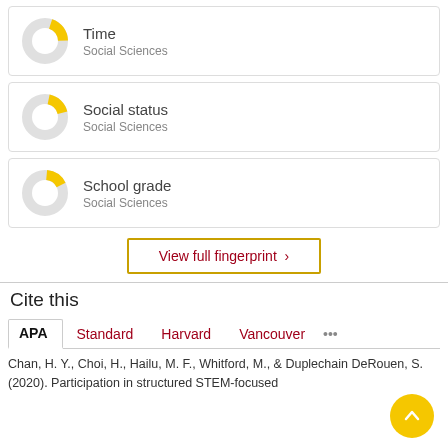[Figure (donut-chart): Time]
[Figure (donut-chart): Social status]
[Figure (donut-chart): School grade]
View full fingerprint >
Cite this
APA | Standard | Harvard | Vancouver | ...
Chan, H. Y., Choi, H., Hailu, M. F., Whitford, M., & Duplechain DeRouen, S. (2020). Participation in structured STEM-focused